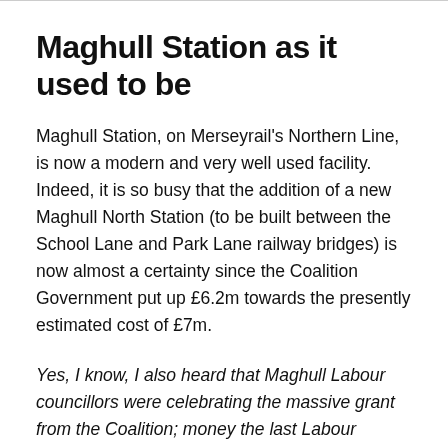Maghull Station as it used to be
Maghull Station, on Merseyrail's Northern Line, is now a modern and very well used facility. Indeed, it is so busy that the addition of a new Maghull North Station (to be built between the School Lane and Park Lane railway bridges) is now almost a certainty since the Coalition Government put up £6.2m towards the presently estimated cost of £7m.
Yes, I know, I also heard that Maghull Labour councillors were celebrating the massive grant from the Coalition; money the last Labour Government did not come even close to stumping up! Funny old world is it not. Reminds me of them also celebrating the Coalition putting up the money to build the Thornton on Sefton bypass Link Road...